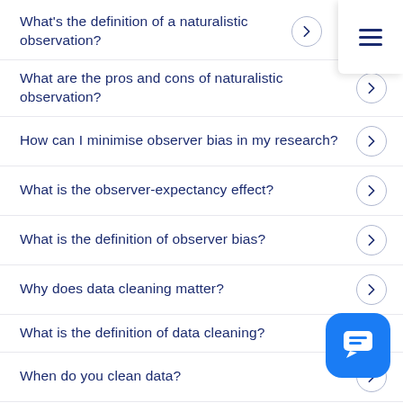What's the definition of a naturalistic observation?
What are the pros and cons of naturalistic observation?
How can I minimise observer bias in my research?
What is the observer-expectancy effect?
What is the definition of observer bias?
Why does data cleaning matter?
What is the definition of data cleaning?
When do you clean data?